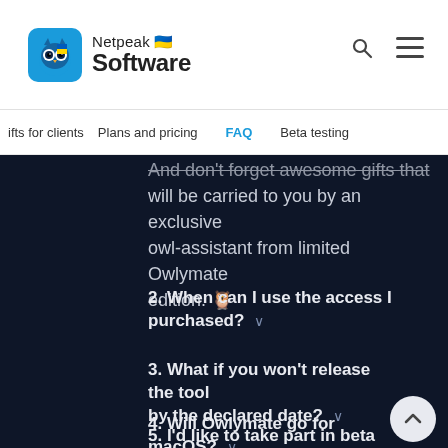Netpeak Software
ifts for clients | Plans and pricing | FAQ | Beta testing
And don't forget awesome gifts that will be carried to you by an exclusive owl-assistant from limited Owlymate edition. 🦉
2. When can I use the access I purchased? ∨
3. What if you won't release the tool by the declared date? ∨
4. Will Owlymate go for macOS? ∨
5. I'd like to take part in beta